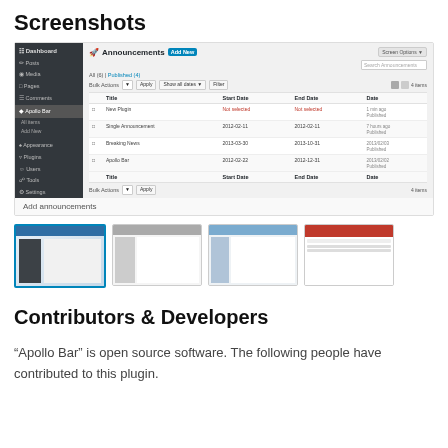Screenshots
[Figure (screenshot): WordPress admin Announcements page showing a list of announcements with columns: Title, Start Date, End Date, Date. Entries include New Plugin (not selected), Single Announcement (2012-02-11), Breaking News (2013-03-30 to 2013-10-31), Apollo Bar (2012-02-22 to 2012-12-31). Left sidebar shows WordPress navigation including Dashboard, Posts, Media, Pages, Comments, Apollo Bar (active), Appearance, Plugins, Users, Tools, Settings.]
Add announcements
[Figure (screenshot): Four thumbnail screenshots of the plugin admin interface]
Contributors & Developers
“Apollo Bar” is open source software. The following people have contributed to this plugin.